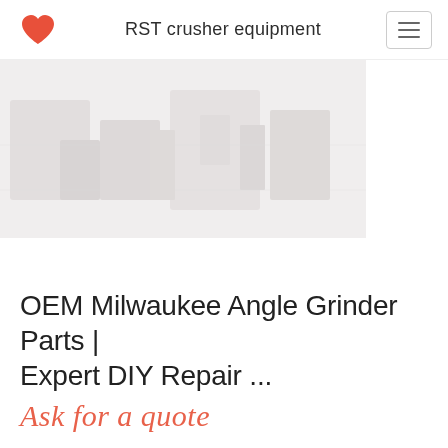RST crusher equipment
[Figure (photo): Faded/washed-out photo of industrial crusher equipment machinery in light gray tones]
OEM Milwaukee Angle Grinder Parts | Expert DIY Repair ...
Ask for a quote